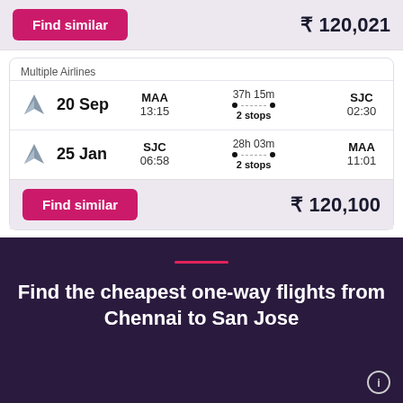Find similar  ₹ 120,021
Multiple Airlines
20 Sep  MAA 13:15  37h 15m  2 stops  SJC 02:30
25 Jan  SJC 06:58  28h 03m  2 stops  MAA 11:01
Find similar  ₹ 120,100
Find the cheapest one-way flights from Chennai to San Jose